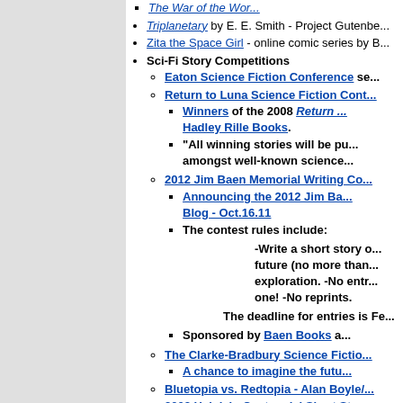The War of the Wor...
Triplanetary by E. E. Smith - Project Gutenbe...
Zita the Space Girl - online comic series by B...
Sci-Fi Story Competitions
Eaton Science Fiction Conference se...
Return to Luna Science Fiction Cont...
Winners of the 2008 Return... Hadley Rille Books.
"All winning stories will be pu... amongst well-known science...
2012 Jim Baen Memorial Writing Co...
Announcing the 2012 Jim Ba... Blog - Oct.16.11
The contest rules include:
-Write a short story o... future (no more than... exploration. -No entr... one! -No reprints.
The deadline for entries is Fe...
Sponsored by Baen Books a...
The Clarke-Bradbury Science Fictio...
A chance to imagine the futu...
Bluetopia vs. Redtopia - Alan Boyle/...
2008 Heinlein Centennial Short Stor...
Sponsored by the Heinlein S...
End of the World writing context - Sp...
Works in Progress
TIGME.COM Cobalt - collaborative sci-fi
Solar Drift by Martin Hale. This science fictio...
Solar drift is an episodic science ficti... trials and tribulations of an unlikely p... into a time of change.